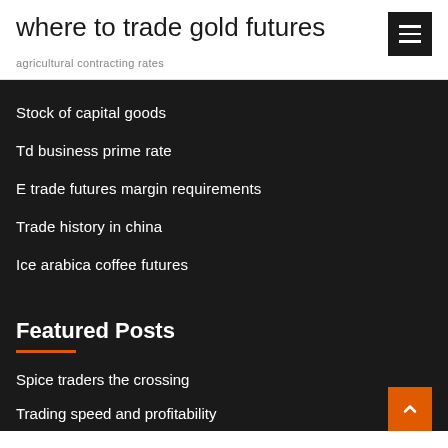where to trade gold futures
agricultural contracting rates
Stock of capital goods
Td business prime rate
E trade futures margin requirements
Trade history in china
Ice arabica coffee futures
Featured Posts
Spice traders the crossing
Trading speed and profitability